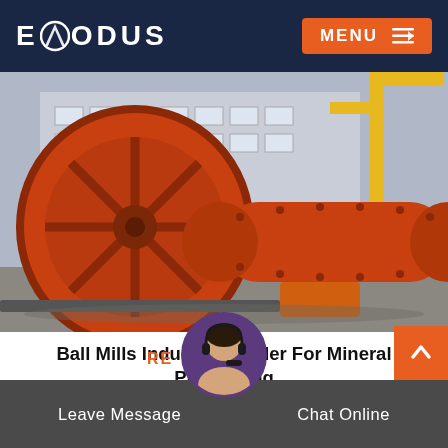EXODUS  MENU
[Figure (photo): Industrial ball mills (large orange cylindrical grinding machines) on a factory floor with a warehouse building and yellow crane structure in the background]
Ball Mills Industry Grinder For Mineral Processing
Ball mills capacity from 0290 th advantagesdesigned for long service life minimum maintenance can grind and homoge...
READ MORE
Leave Message   Chat Online